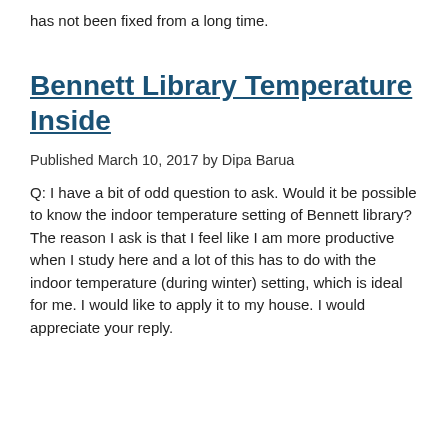has not been fixed from a long time.
Bennett Library Temperature Inside
Published March 10, 2017 by Dipa Barua
Q: I have a bit of odd question to ask. Would it be possible to know the indoor temperature setting of Bennett library? The reason I ask is that I feel like I am more productive when I study here and a lot of this has to do with the indoor temperature (during winter) setting, which is ideal for me. I would like to apply it to my house. I would appreciate your reply.